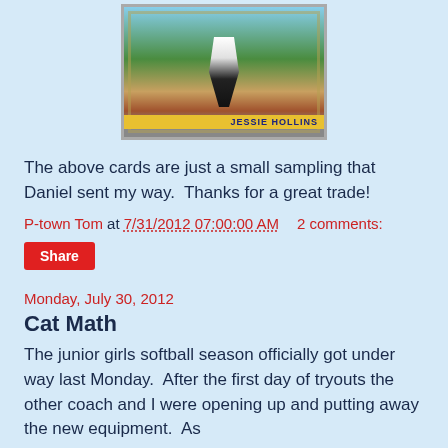[Figure (photo): A baseball card showing a player (legs/lower body visible) in a white uniform on a baseball field. The card has a yellow name bar at the bottom reading 'JESSIE HOLLINS' in dark blue letters, with decorative foil border.]
The above cards are just a small sampling that Daniel sent my way.  Thanks for a great trade!
P-town Tom at 7/31/2012 07:00:00 AM     2 comments:
Share
Monday, July 30, 2012
Cat Math
The junior girls softball season officially got under way last Monday.  After the first day of tryouts the other coach and I were opening up and putting away the new equipment.  As